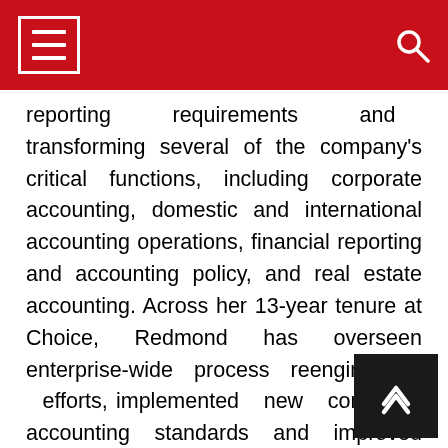[Navigation header with hamburger menu and search icon]
reporting requirements and transforming several of the company’s critical functions, including corporate accounting, domestic and international accounting operations, financial reporting and accounting policy, and real estate accounting. Across her 13-year tenure at Choice, Redmond has overseen enterprise-wide process reengineering efforts, implemented new complex accounting standards and improved internal control structures and procedures. Redmond joined the company in 2007 and has held various roles in the finance department, most recently as VP of financial reporting and accounting.